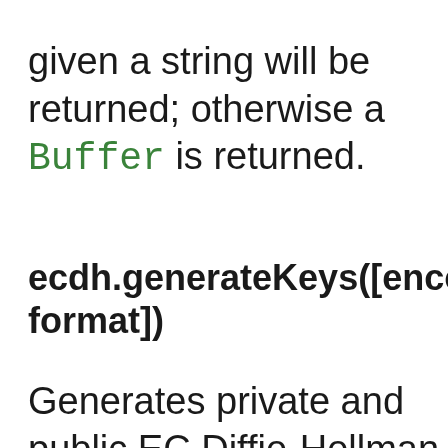given a string will be returned; otherwise a Buffer is returned.
ecdh.generateKeys([encoding, format])
Generates private and public EC Diffie-Hellman keys, and returns the public key in the specified format and encoding.